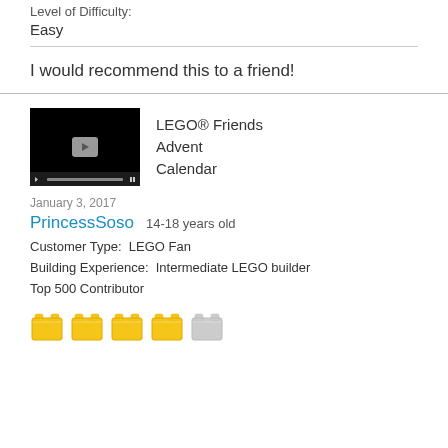Level of Difficulty:
Easy
I would recommend this to a friend!
[Figure (screenshot): Video thumbnail showing a black background with a play button in the center and a video controls bar at the bottom]
LEGO® Friends Advent Calendar
January 3, 2017
PrincessSoso   14-18 years old
Customer Type:  LEGO Fan
Building Experience:  Intermediate LEGO builder
Top 500 Contributor
[Figure (illustration): Five LEGO brick star rating icons: four yellow/gold colored bricks and one gray/empty brick]